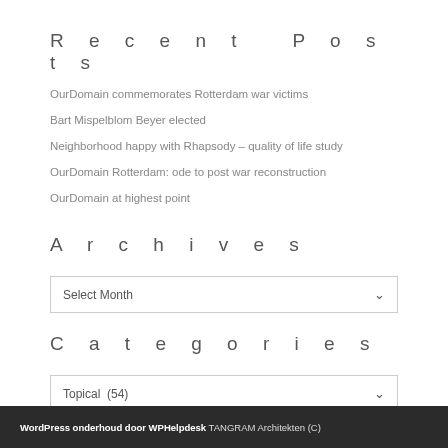Recent Posts
OurDomain commemorates Rotterdam war victims
Bart Mispelblom Beyer elected
Neighborhood happy with Rhapsody – quality of life study
OurDomain Rotterdam: ode to post war reconstruction
OurDomain at highest point
Archives
Select Month
Categories
Topical  (54)
WordPress onderhoud door WPHelpdesk TANGRAM Architekten (C)